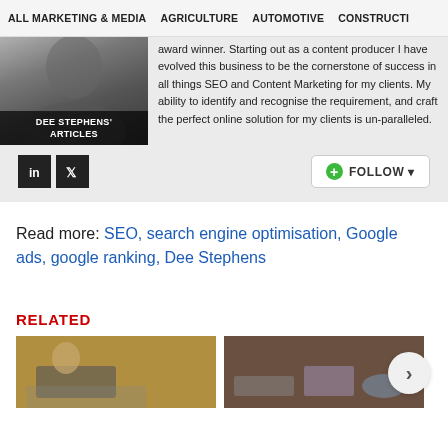ALL MARKETING & MEDIA   AGRICULTURE   AUTOMOTIVE   CONSTRUCTI
[Figure (photo): Black and white photo of Dee Stephens with overlay text 'DEE STEPHENS' ARTICLES']
award winner. Starting out as a content producer I have evolved this business to be the cornerstone of success in all things SEO and Content Marketing for my clients. My ability to identify and recognise the requirement, and craft the perfect online solution for my clients is un-paralleled.
[Figure (infographic): LinkedIn and Twitter social icons, plus a green Follow button]
Read more: SEO, search engine optimisation, Google ads, google ranking, Dee Stephens
RELATED
[Figure (photo): Two thumbnail images for related articles, with a right-arrow navigation button]